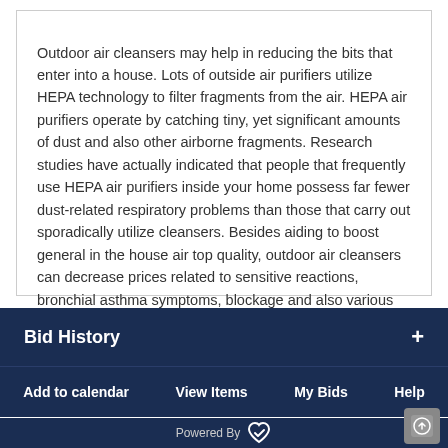Outdoor air cleansers may help in reducing the bits that enter into a house. Lots of outside air purifiers utilize HEPA technology to filter fragments from the air. HEPA air purifiers operate by catching tiny, yet significant amounts of dust and also other airborne fragments. Research studies have actually indicated that people that frequently use HEPA air purifiers inside your home possess far fewer dust-related respiratory problems than those that carry out sporadically utilize cleansers. Besides aiding to boost general in the house air top quality, outdoor air cleansers can decrease prices related to sensitive reactions, bronchial asthma symptoms, blockage and also various other wellness concerns.
Bid History
Add to calendar   View Items   My Bids   Help
Powered By